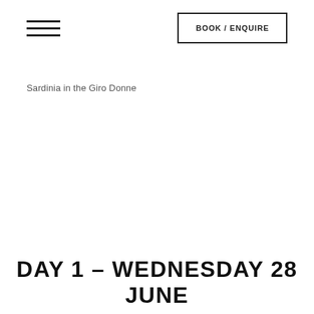BOOK / ENQUIRE
Sardinia in the Giro Donne
DAY 1 - WEDNESDAY 28 JUNE